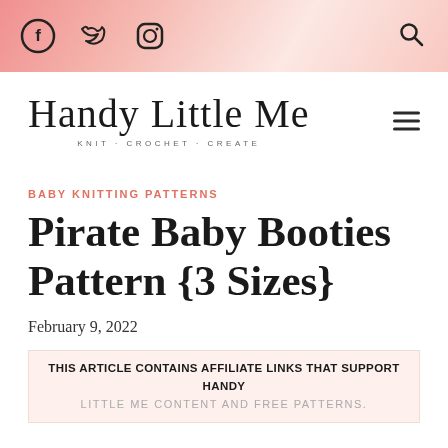Social media icons (Facebook, Twitter, Instagram) and search icon on pink gradient header bar
[Figure (logo): Handy Little Me logo with script font text and tagline KNIT · CROCHET · CREATE]
BABY KNITTING PATTERNS
Pirate Baby Booties Pattern {3 Sizes}
February 9, 2022
THIS ARTICLE CONTAINS AFFILIATE LINKS THAT SUPPORT HANDY LITTLE ME CONTENT AND FREE PATTERNS.